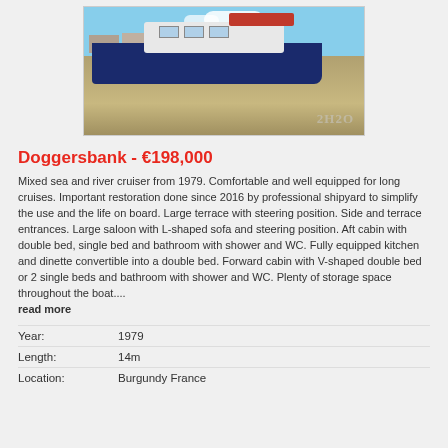[Figure (photo): A blue and white motor cruiser boat moored at a quayside on a sunny day, with a red cover visible on top. Watermark '2H2O' visible in bottom right corner.]
Doggersbank - €198,000
Mixed sea and river cruiser from 1979. Comfortable and well equipped for long cruises. Important restoration done since 2016 by professional shipyard to simplify the use and the life on board. Large terrace with steering position. Side and terrace entrances. Large saloon with L-shaped sofa and steering position. Aft cabin with double bed, single bed and bathroom with shower and WC. Fully equipped kitchen and dinette convertible into a double bed. Forward cabin with V-shaped double bed or 2 single beds and bathroom with shower and WC. Plenty of storage space throughout the boat....
read more
| Year: | 1979 |
| Length: | 14m |
| Location: | Burgundy France |